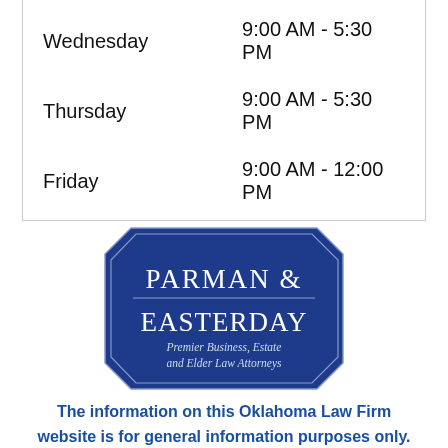| Day | Hours |
| --- | --- |
| Wednesday | 9:00 AM - 5:30 PM |
| Thursday | 9:00 AM - 5:30 PM |
| Friday | 9:00 AM - 12:00 PM |
[Figure (logo): Parman & Easterday law firm logo — dark blue octagonal badge with white text reading PARMAN & EASTERDAY, Premier Business, Estate and Elder Law Attorneys]
The information on this Oklahoma Law Firm website is for general information purposes only. Nothing on this or